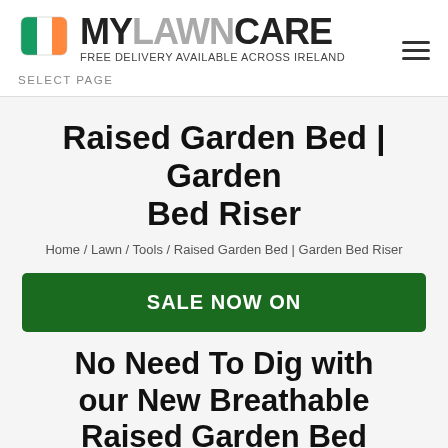[Figure (logo): MyLawnCare logo with Irish flag icon and tagline FREE DELIVERY AVAILABLE ACROSS IRELAND]
SELECT PAGE
Raised Garden Bed | Garden Bed Riser
Home / Lawn / Tools / Raised Garden Bed | Garden Bed Riser
SALE NOW ON
No Need To Dig with our New Breathable Raised Garden Bed